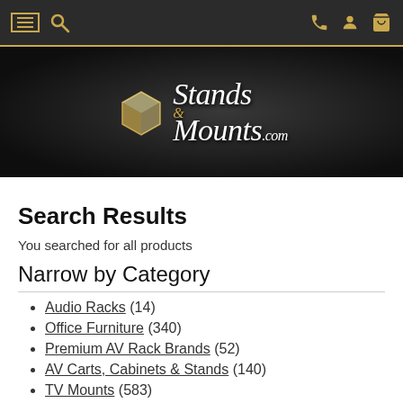Stands and Mounts .com navigation header with menu, search, phone, account, and cart icons
[Figure (logo): StandsandMounts.com logo with gold and white script lettering on dark background]
Search Results
You searched for all products
Narrow by Category
Audio Racks (14)
Office Furniture (340)
Premium AV Rack Brands (52)
AV Carts, Cabinets & Stands (140)
TV Mounts (583)
(expand)